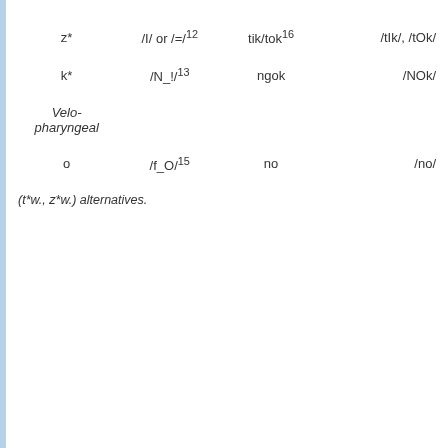| z* | /I/ or /=/<sup>12</sup> | tik/tok<sup>16</sup> | /tIk/, /tOk/ |
| k* | /N_!/<sup>13</sup> | ngok | /NOk/ |
| Velo-
pharyngeal |  |  |  |
| o | /f_O/<sup>15</sup> | no | /no/ |
(t*w., z*w.) alternatives.